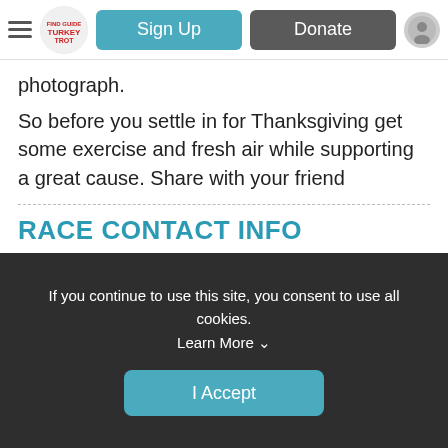Sign Up | Donate
photograph.
So before you settle in for Thanksgiving get some exercise and fresh air while supporting a great cause. Share with your friend
RACE CONTACT INFO
If you have any questions about this race, click the button below.
If you continue to use this site, you consent to use all cookies. Learn More ∨
I Accept